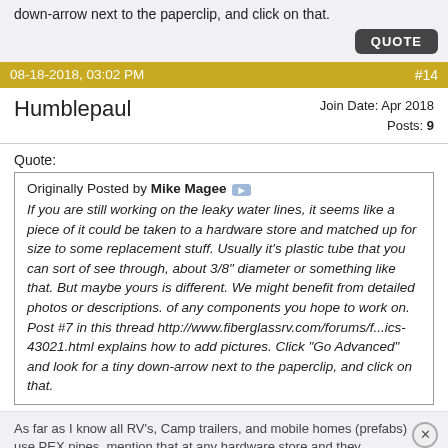down-arrow next to the paperclip, and click on that.
QUOTE
08-18-2018, 03:02 PM   #14
Humblepaul
Join Date: Apr 2018
Posts: 9
Quote:
Originally Posted by Mike Magee
If you are still working on the leaky water lines, it seems like a piece of it could be taken to a hardware store and matched up for size to some replacement stuff. Usually it's plastic tube that you can sort of see through, about 3/8" diameter or something like that. But maybe yours is different. We might benefit from detailed photos or descriptions. of any components you hope to work on. Post #7 in this thread http://www.fiberglassrv.com/forums/f...ics-43021.html explains how to add pictures. Click "Go Advanced" and look for a tiny down-arrow next to the paperclip, and click on that.
As far as I know all RV's, Camp trailers, and mobile homes (prefabs) use PEX pipes, mention that at any hardware store and they